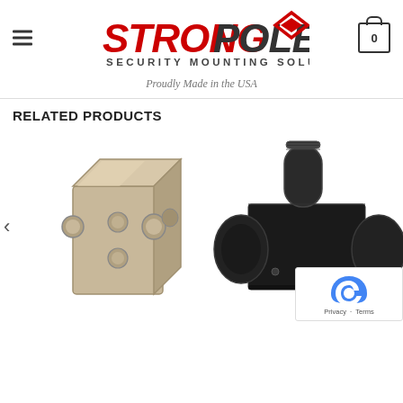[Figure (logo): StrongPoles Security Mounting Solutions logo with red and dark text and a diamond/arrow graphic element]
Proudly Made in the USA
RELATED PRODUCTS
[Figure (photo): Beige/tan square junction box with circular knockouts on the sides]
[Figure (photo): Black metal security camera pole mounting bracket/head unit with threaded pipe and side flanges]